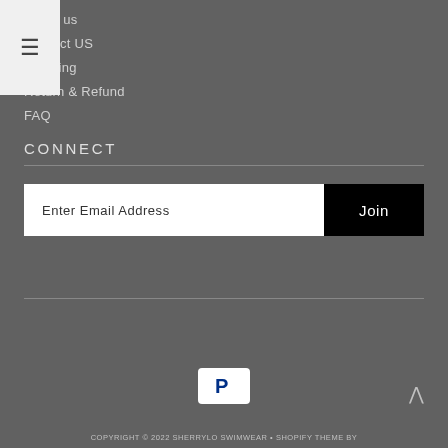About us
Contact US
Shipping
Return & Refund
FAQ
CONNECT
Enter Email Address
Join
[Figure (logo): PayPal logo mark — white background with blue P symbol]
COPYRIGHT © 2022 SHERRYLO SWIMWEAR • SHOPIFY THEME BY